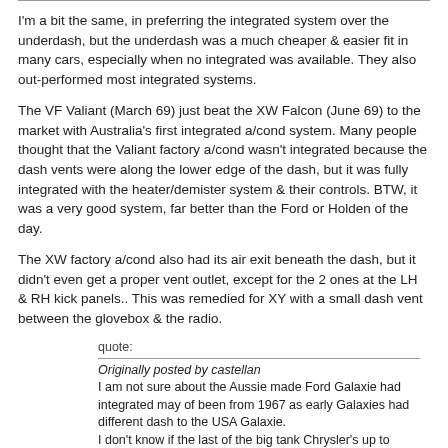I'm a bit the same, in preferring the integrated system over the underdash, but the underdash was a much cheaper & easier fit in many cars, especially when no integrated was available. They also out-performed most integrated systems.
The VF Valiant (March 69) just beat the XW Falcon (June 69) to the market with Australia's first integrated a/cond system. Many people thought that the Valiant factory a/cond wasn't integrated because the dash vents were along the lower edge of the dash, but it was fully integrated with the heater/demister system & their controls. BTW, it was a very good system, far better than the Ford or Holden of the day.
The XW factory a/cond also had its air exit beneath the dash, but it didn't even get a proper vent outlet, except for the 2 ones at the LH & RH kick panels.. This was remedied for XY with a small dash vent between the glovebox & the radio.
quote:
Originally posted by castellan
I am not sure about the Aussie made Ford Galaxie had integrated may of been from 1967 as early Galaxies had different dash to the USA Galaxie.
I don't know if the last of the big tank Chrysler's up to 1972 had it.